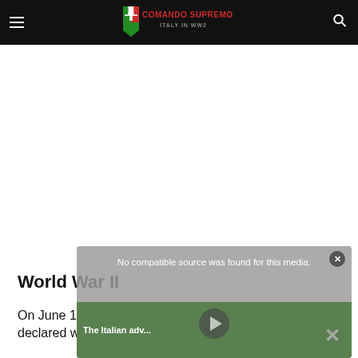COMANDO SUPREMO — ITALY IN WW2
[Figure (screenshot): Ad/empty white space area below navigation bar]
World War II
On June 10, 1940, Benito Mussolini declared war
[Figure (screenshot): Video overlay with message 'No compatible source was found for this media.' and partial thumbnail showing 'The Italian adv...' on green background with X close button]